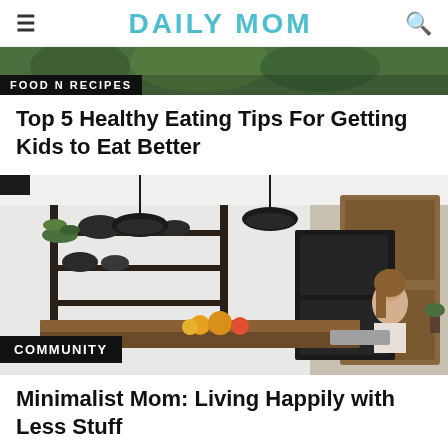DAILY MOM
[Figure (photo): Top portion of a food/recipes article image showing green plants/herbs with a 'FOOD N RECIPES' category badge overlay]
Top 5 Healthy Eating Tips For Getting Kids to Eat Better
[Figure (photo): Woman sitting in a modern minimalist kitchen with industrial shelving, plants, cookware, and a wooden island counter. Category badge reads 'COMMUNITY'.]
Minimalist Mom: Living Happily with Less Stuff